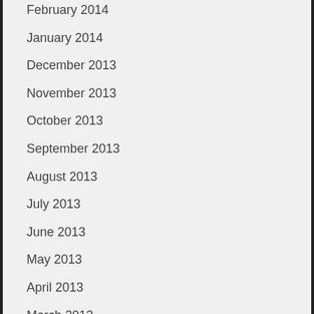February 2014
January 2014
December 2013
November 2013
October 2013
September 2013
August 2013
July 2013
June 2013
May 2013
April 2013
March 2013
February 2013
January 2013
December 2012
November 2012
October 2012